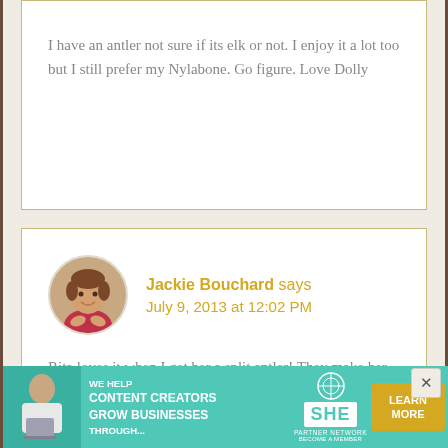I have an antler not sure if its elk or not. I enjoy it a lot too but I still prefer my Nylabone. Go figure. Love Dolly
Jackie Bouchard says
July 9, 2013 at 12:02 PM
Rita loves it when I get her a split antler! They make her teeth nice and white too!
[Figure (photo): Circular avatar photo of Jackie Bouchard, a woman in a red top]
[Figure (infographic): Advertisement banner: 'WE HELP CONTENT CREATORS GROW BUSINESSES THROUGH...' SHE PARTNER NETWORK BECOME A MEMBER. LEARN MORE button.]